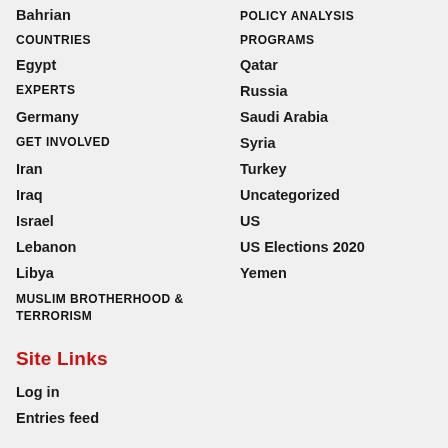Bahrian
POLICY ANALYSIS
COUNTRIES
PROGRAMS
Egypt
Qatar
EXPERTS
Russia
Germany
Saudi Arabia
GET INVOLVED
Syria
Iran
Turkey
Iraq
Uncategorized
Israel
US
Lebanon
US Elections 2020
Libya
Yemen
MUSLIM BROTHERHOOD & TERRORISM
Site Links
Log in
Entries feed